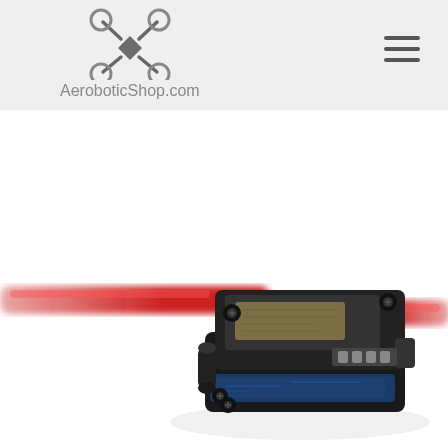AeroboticShop.com
[Figure (photo): Product photo of a small black electronic speed controller (ESC) drone component with a red power cable running through it, photographed on a white background with slight blur/bokeh effect.]